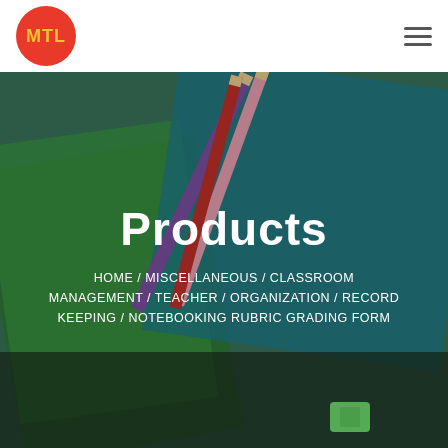[Figure (logo): MTL circular logo with red background and yellow letters MTL]
[Figure (photo): Background photo of colored pencils and notebooks on a desk, with green, teal, and red notebooks visible]
Products
HOME / MISCELLANEOUS / CLASSROOM MANAGEMENT / TEACHER / ORGANIZATION / RECORD KEEPING / NOTEBOOKING RUBRIC GRADING FORM